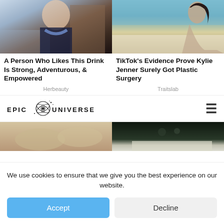[Figure (photo): Photo of a flight attendant in dark uniform with blue scarf, inside an aircraft cabin]
[Figure (photo): Photo of Kylie Jenner in a bikini sitting on a yacht deck]
A Person Who Likes This Drink Is Strong, Adventurous, & Empowered
TikTok's Evidence Prove Kylie Jenner Surely Got Plastic Surgery
Herbeauty
Traitslab
[Figure (logo): Epic Universe logo with orbital/atom graphic and text EPIC UNIVERSE]
[Figure (photo): Partial view of two images at bottom of page, partially obscured by cookie banner]
We use cookies to ensure that we give you the best experience on our website.
Accept
Decline